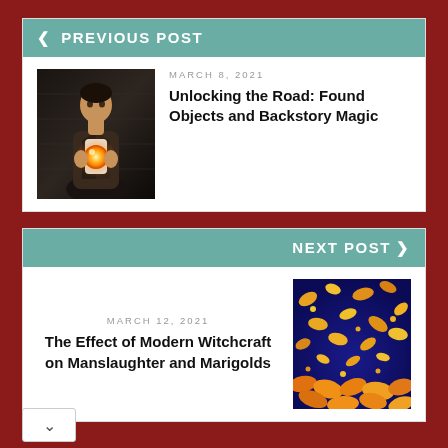< PREVIOUS POST
[Figure (photo): A man holding a glowing orange orb, dark dramatic background]
MARCH 8, 2021
Unlocking the Road: Found Objects and Backstory Magic
NEXT POST >
MARCH 12, 2021
The Effect of Modern Witchcraft on Manslaughter and Marigolds
[Figure (photo): Blue background with yellow/orange scattered flower petals or marigolds]